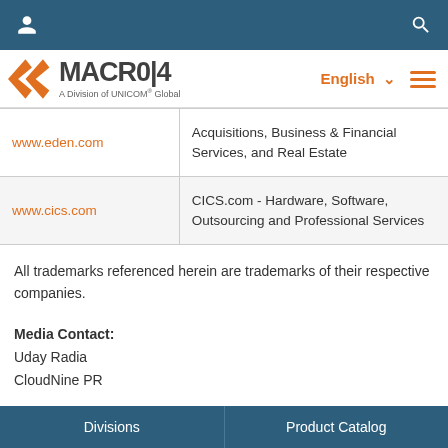[Figure (logo): Macro4 logo with orange arrow graphic and text 'A Division of UNICOM Global', navigation bar with user icon and search icon, English language selector and hamburger menu]
| www.eden.com | Acquisitions, Business & Financial Services, and Real Estate |
| www.cics.com | CICS.com - Hardware, Software, Outsourcing and Professional Services |
All trademarks referenced herein are trademarks of their respective companies.
Media Contact:
Uday Radia
CloudNine PR
Divisions | Product Catalog